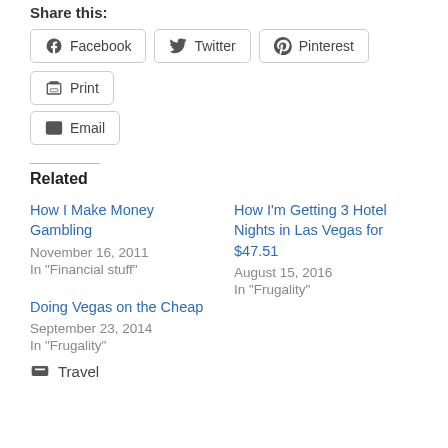Share this:
Facebook
Twitter
Pinterest
Print
Email
Related
How I Make Money Gambling
November 16, 2011
In "Financial stuff"
How I’m Getting 3 Hotel Nights in Las Vegas for $47.51
August 15, 2016
In "Frugality"
Doing Vegas on the Cheap
September 23, 2014
In "Frugality"
Travel